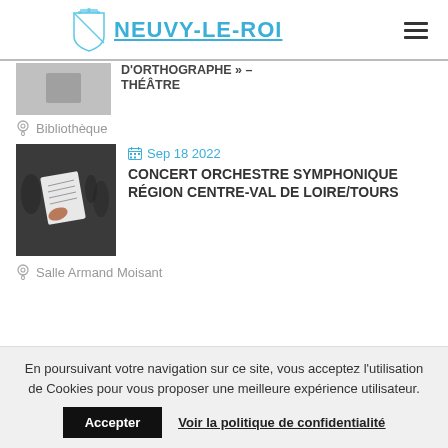NEUVY-LE-ROI
D'ORTHOGRAPHE » – THÉÂTRE
Bibliothèque
Sep 18 2022
[Figure (photo): Person holding sheet music at a concert]
CONCERT ORCHESTRE SYMPHONIQUE RÉGION CENTRE-VAL DE LOIRE/TOURS
Salle Armand Moisant
En poursuivant votre navigation sur ce site, vous acceptez l'utilisation de Cookies pour vous proposer une meilleure expérience utilisateur.
Accepter
Voir la politique de confidentialité